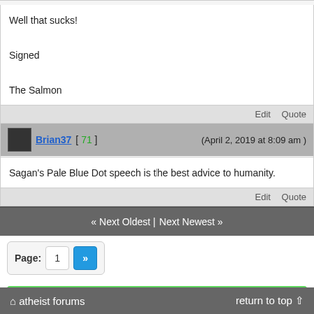Well that sucks!

Signed

The Salmon
Edit   Quote
Brian37 [ 71 ]   (April 2, 2019 at 8:09 am )
Sagan's Pale Blue Dot speech is the best advice to humanity.
Edit   Quote
« Next Oldest | Next Newest »
Page: 1 »
Subscribe to this thread
atheist forums   return to top